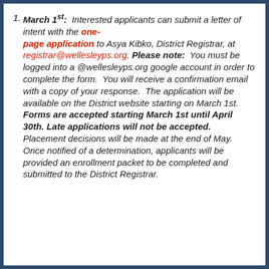March 1st: Interested applicants can submit a letter of intent with the one-page application to Asya Kibko, District Registrar, at registrar@wellesleyps.org. Please note: You must be logged into a @wellesleyps.org google account in order to complete the form. You will receive a confirmation email with a copy of your response. The application will be available on the District website starting on March 1st. Forms are accepted starting March 1st until April 30th. Late applications will not be accepted. Placement decisions will be made at the end of May. Once notified of a determination, applicants will be provided an enrollment packet to be completed and submitted to the District Registrar.